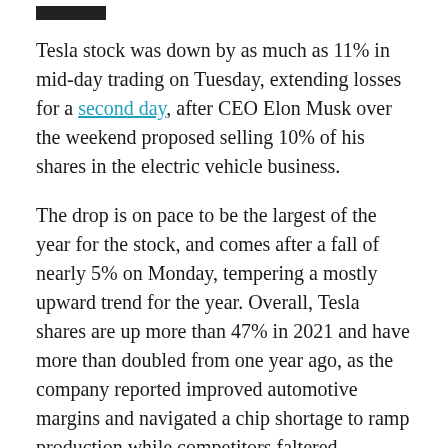[Figure (logo): Black rectangular logo bar at top of page]
Tesla stock was down by as much as 11% in mid-day trading on Tuesday, extending losses for a second day, after CEO Elon Musk over the weekend proposed selling 10% of his shares in the electric vehicle business.
The drop is on pace to be the largest of the year for the stock, and comes after a fall of nearly 5% on Monday, tempering a mostly upward trend for the year. Overall, Tesla shares are up more than 47% in 2021 and have more than doubled from one year ago, as the company reported improved automotive margins and navigated a chip shortage to ramp production while competitors faltered.
Current and former board members including chairwoman Robyn Denholm, Elon Musk's brother Kimbal Musk, Ira Ehrenpreis and Antonio Gracias have also offloaded